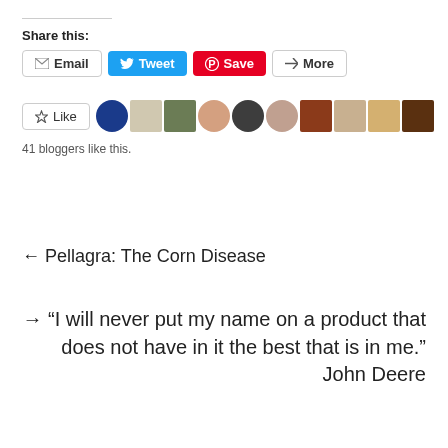Share this:
[Figure (screenshot): Social sharing buttons: Email, Tweet (blue), Save (red/pinterest), More]
[Figure (screenshot): Like button with star icon, followed by a row of 10 blogger avatar thumbnails]
41 bloggers like this.
← Pellagra: The Corn Disease
→ “I will never put my name on a product that does not have in it the best that is in me.” John Deere